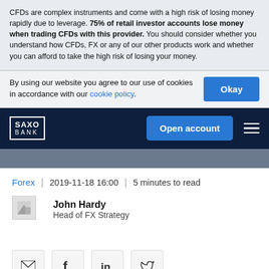CFDs are complex instruments and come with a high risk of losing money rapidly due to leverage. 75% of retail investor accounts lose money when trading CFDs with this provider. You should consider whether you understand how CFDs, FX or any of our other products work and whether you can afford to take the high risk of losing your money.
By using our website you agree to our use of cookies in accordance with our cookie policy.
[Figure (logo): Saxo Bank logo with white border on dark navy background]
Forex | 2019-11-18 16:00 | 5 minutes to read
[Figure (photo): Small author avatar image thumbnail]
John Hardy
Head of FX Strategy
[Figure (infographic): Social share buttons: email, Facebook, LinkedIn, Twitter]